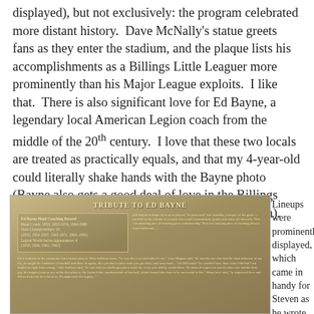displayed), but not exclusively: the program celebrated more distant history.  Dave McNally's statue greets fans as they enter the stadium, and the plaque lists his accomplishments as a Billings Little Leaguer more prominently than his Major League exploits.  I like that.  There is also significant love for Ed Bayne, a legendary local American Legion coach from the middle of the 20th century.  I love that these two locals are treated as practically equals, and that my 4-year-old could literally shake hands with the Bayne photo (Bayne also gets a good deal of love in the Billings American Legion Hall of Fame inside the stadium).
[Figure (photo): A bronze plaque titled 'TRIBUTE TO ED BAYNE' with text about Ed Bayne's coaching record, State Championships, and Legion World Series Appearances, along with testimonials.]
Lineups were prominently displayed, which came in handy for Steven as he wrote down